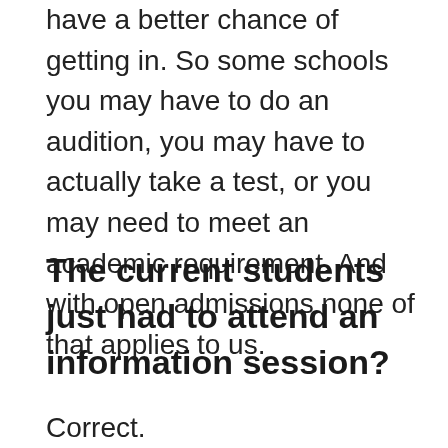have a better chance of getting in. So some schools you may have to do an audition, you may have to actually take a test, or you may need to meet an academic requirement. And with open admissions none of that applies to us.
The current students just had to attend an information session?
Correct.